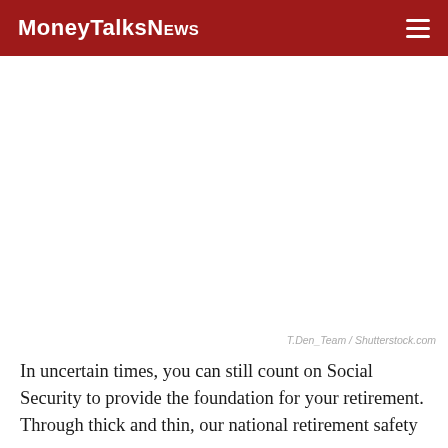MoneyTalksNews
[Figure (photo): Large image placeholder area (white/blank) representing a photo related to Social Security retirement, credited to T.Den_Team / Shutterstock.com]
T.Den_Team / Shutterstock.com
In uncertain times, you can still count on Social Security to provide the foundation for your retirement. Through thick and thin, our national retirement safety